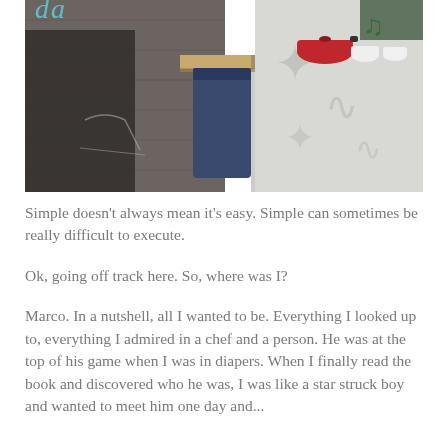[Figure (photo): Kitchen scene showing wooden wall with decorative neon/chalk sign, a blue bag hanging under a wooden shelf, red pot and white cups/bowls on the shelf, and a curtain with ornate grey pattern on the right side.]
Simple doesn't always mean it's easy. Simple can sometimes be really difficult to execute.
Ok, going off track here. So, where was I?
Marco. In a nutshell, all I wanted to be. Everything I looked up to, everything I admired in a chef and a person. He was at the top of his game when I was in diapers. When I finally read the book and discovered who he was, I was like a star struck boy and wanted to meet him one day and...